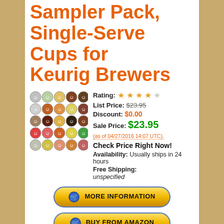Sampler Pack, Single-Serve Cups for Keurig Brewers
[Figure (photo): Grid of colorful K-Cup coffee pod tops in various colors and flavors]
Rating: ★★★★☆
List Price: $23.95
Discount: $0.00
Sale Price: $23.95
(as of 04/27/2016 14:07 UTC).
Check Price Right Now!
Availability: Usually ships in 24 hours
Free Shipping: unspecified
[Figure (other): MORE INFORMATION button]
[Figure (other): BUY FROM AMAZON button]
[Figure (photo): Thumbnail product images at bottom]